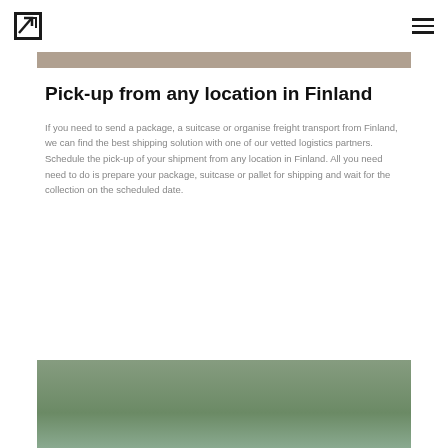[Figure (photo): Top edge of a landscape photo, partially visible]
Pick-up from any location in Finland
If you need to send a package, a suitcase or organise freight transport from Finland, we can find the best shipping solution with one of our vetted logistics partners. Schedule the pick-up of your shipment from any location in Finland. All you need need to do is prepare your package, suitcase or pallet for shipping and wait for the collection on the scheduled date.
[Figure (photo): Bottom landscape photo showing a hilltop or fell in Finland, partially visible]